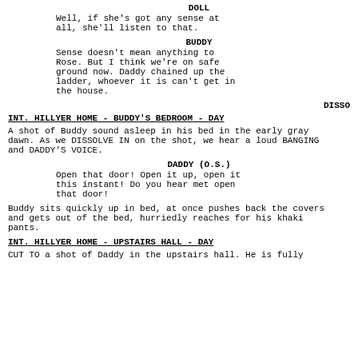DOLL
Well, if she's got any sense at all, she'll listen to that.
BUDDY
Sense doesn't mean anything to Rose. But I think we're on safe ground now. Daddy chained up the ladder, whoever it is can't get in the house.
DISSOLVE
INT. HILLYER HOME - BUDDY'S BEDROOM - DAY
A shot of Buddy sound asleep in his bed in the early gray dawn. As we DISSOLVE IN on the shot, we hear a loud BANGING and DADDY'S VOICE.
DADDY (O.S.)
Open that door! Open it up, open it this instant! Do you hear met open that door!
Buddy sits quickly up in bed, at once pushes back the covers and gets out of the bed, hurriedly reaches for his khaki pants.
INT. HILLYER HOME - UPSTAIRS HALL - DAY
CUT TO a shot of Daddy in the upstairs hall. He is fully